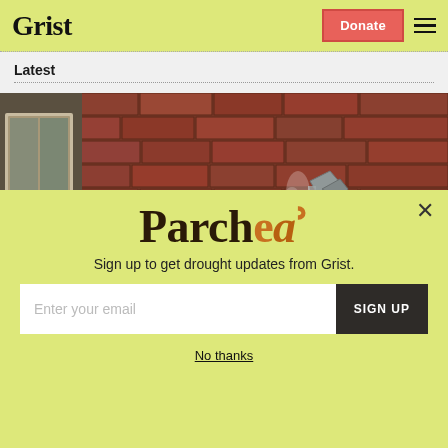Grist | Donate
Latest
[Figure (photo): Exterior brick wall of a red-brick building with a white window on the left side and a small metal object (possibly a dryer vent or pipe bracket) on the brick surface, with steam or vapor visible]
Parched
Sign up to get drought updates from Grist.
Enter your email | SIGN UP
No thanks